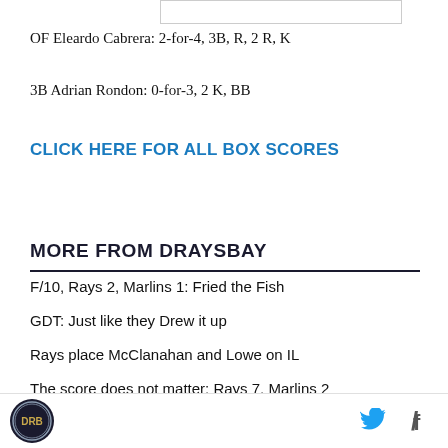[Figure (other): Partial image/chart bar at top of page]
OF Eleardo Cabrera: 2-for-4, 3B, R, 2 R, K
3B Adrian Rondon: 0-for-3, 2 K, BB
CLICK HERE FOR ALL BOX SCORES
MORE FROM DRAYSBAY
F/10, Rays 2, Marlins 1: Fried the Fish
GDT: Just like they Drew it up
Rays place McClanahan and Lowe on IL
The score does not matter: Rays 7, Marlins 2
DRB logo | Twitter | Facebook